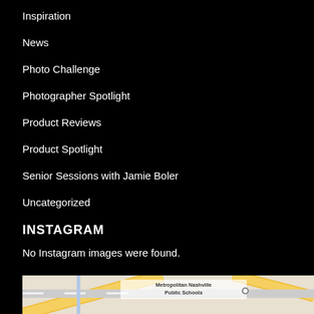Inspiration
News
Photo Challenge
Photographer Spotlight
Product Reviews
Product Spotlight
Senior Sessions with Jamie Boler
Uncategorized
INSTAGRAM
No Instagram images were found.
HOURS & INFO
[Figure (map): Map showing Metropolitan Nashville Public Schools area with roads]